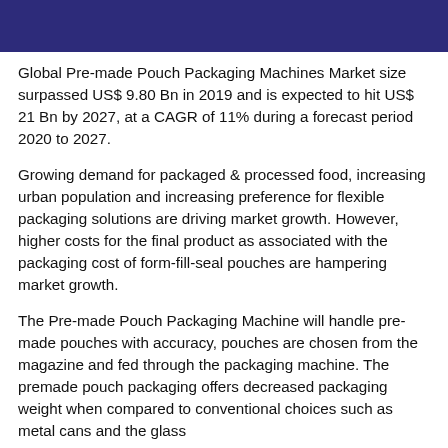Global Pre-made Pouch Packaging Machines Market size surpassed US$ 9.80 Bn in 2019 and is expected to hit US$ 21 Bn by 2027, at a CAGR of 11% during a forecast period 2020 to 2027.
Growing demand for packaged & processed food, increasing urban population and increasing preference for flexible packaging solutions are driving market growth. However, higher costs for the final product as associated with the packaging cost of form-fill-seal pouches are hampering market growth.
The Pre-made Pouch Packaging Machine will handle pre-made pouches with accuracy, pouches are chosen from the magazine and fed through the packaging machine. The premade pouch packaging offers decreased packaging weight when compared to conventional choices such as metal cans and the glass